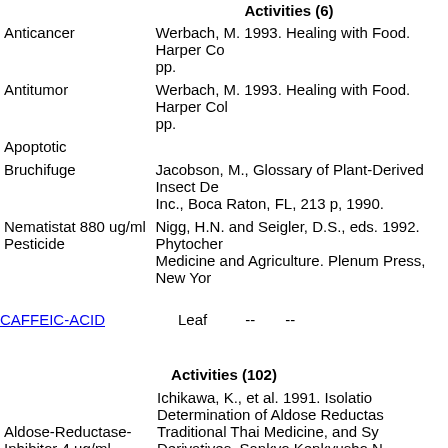Activities (6)
| Activity | Reference |
| --- | --- |
| Anticancer | Werbach, M. 1993. Healing with Food. Harper Co... pp. |
| Antitumor | Werbach, M. 1993. Healing with Food. Harper Col... pp. |
| Apoptotic |  |
| Bruchifuge | Jacobson, M., Glossary of Plant-Derived Insect De... Inc., Boca Raton, FL, 213 p, 1990. |
| Nematistat 880 ug/ml | Nigg, H.N. and Seigler, D.S., eds. 1992. Phytocher... Medicine and Agriculture. Plenum Press, New Yor... |
| Pesticide |  |
CAFFEIC-ACID    Leaf    --    --
Activities (102)
| Activity | Reference |
| --- | --- |
| Aldose-Reductase-Inhibitor 4 ug/ml (weak activity) | Ichikawa, K., et al. 1991. Isolation and Determination of Aldose Reductase Inhibitors from Traditional Thai Medicine, and Sy... Derivatives. Sankyo Kenkyusho N... |